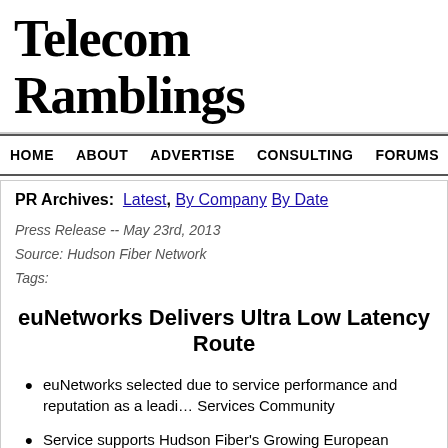Telecom Ramblings
HOME   ABOUT   ADVERTISE   CONSULTING   FORUMS   JOBS   CO
PR Archives:  Latest, By Company By Date
Press Release -- May 23rd, 2013
Source: Hudson Fiber Network
Tags:
euNetworks Delivers Ultra Low Latency Route
euNetworks selected due to service performance and reputation as a leading Services Community
Service supports Hudson Fiber's Growing European bandwidth requireme
London, UNITED KINGDOM– 23 May 2013 –euNetworks Group Limited (SGX: H23.SI), today announced it has signed a new agreement with Hudson Fiber Netv